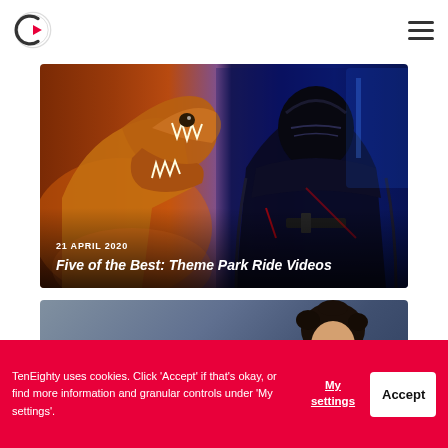TenEighty logo and navigation menu
[Figure (photo): Composite image of a T-rex on the left with warm orange/red lighting and Kylo Ren character on the right with blue/dark lighting, overlaid with text '21 APRIL 2020' and 'Five of the Best: Theme Park Ride Videos']
21 APRIL 2020
Five of the Best: Theme Park Ride Videos
[Figure (photo): Partially visible image showing a person with curly dark hair and large letters in the background, card is cut off at bottom]
TenEighty uses cookies. Click 'Accept' if that's okay, or find more information and granular controls under 'My settings'.